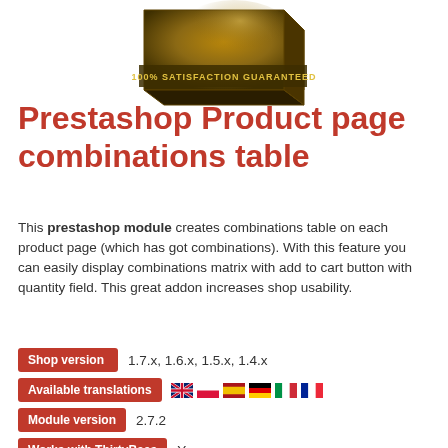[Figure (photo): Product box image with text '100% SATISFACTION GUARANTEED' on a dark golden brown box]
Prestashop Product page combinations table
This prestashop module creates combinations table on each product page (which has got combinations). With this feature you can easily display combinations matrix with add to cart button with quantity field. This great addon increases shop usability.
Shop version   1.7.x, 1.6.x, 1.5.x, 1.4.x
Available translations   [flags: UK, Poland, Spain, Germany, Italy, France]
Module version   2.7.2
Works with ThirtyBees   Yes
Public help and discussion   Open forum discussion